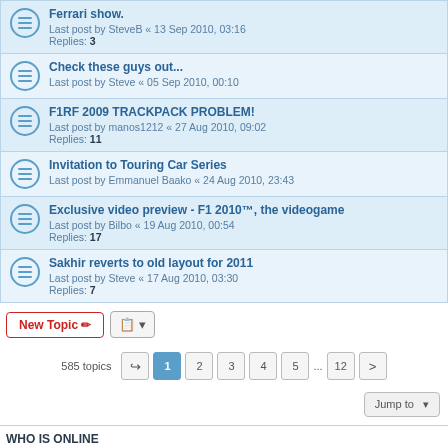Ferrari show. Last post by SteveB « 13 Sep 2010, 03:16 Replies: 3
Check these guys out... Last post by Steve « 05 Sep 2010, 00:10
F1RF 2009 TRACKPACK PROBLEM! Last post by manos1212 « 27 Aug 2010, 09:02 Replies: 11
Invitation to Touring Car Series Last post by Emmanuel Baako « 24 Aug 2010, 23:43
Exclusive video preview - F1 2010™, the videogame Last post by Bilbo « 19 Aug 2010, 00:54 Replies: 17
Sakhir reverts to old layout for 2011 Last post by Steve « 17 Aug 2010, 03:30 Replies: 7
New Topic | Sort | 585 topics | 1 2 3 4 5 ... 12 > | Jump to
WHO IS ONLINE
Users browsing this forum: Google [Bot] and 1 guest
FORUM PERMISSIONS